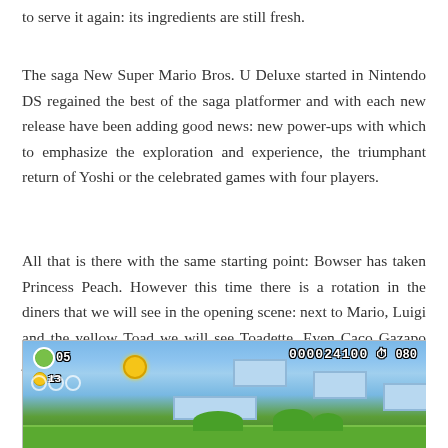to serve it again: its ingredients are still fresh.
The saga New Super Mario Bros. U Deluxe started in Nintendo DS regained the best of the saga platformer and with each new release have been adding good news: new power-ups with which to emphasize the exploration and experience, the triumphant return of Yoshi or the celebrated games with four players.
All that is there with the same starting point: Bowser has taken Princess Peach. However this time there is a rotation in the diners that we will see in the opening scene: next to Mario, Luigi and the yellow Toad we will see Toadette. Even Caco Gazapo joins the rescue!
[Figure (screenshot): Screenshot of New Super Mario Bros. U Deluxe gameplay showing Luigi character icon with 05 lives, coin count 13, score 000024100, and timer 080, set against a blue sky background with green platforms and bushes.]